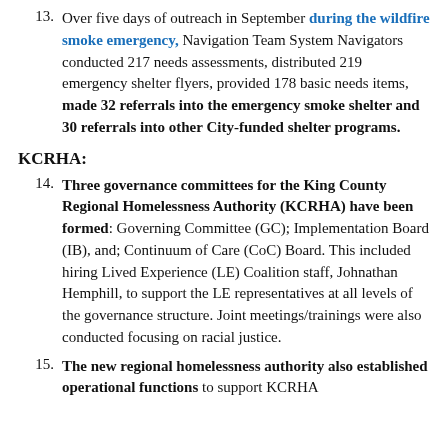13. Over five days of outreach in September during the wildfire smoke emergency, Navigation Team System Navigators conducted 217 needs assessments, distributed 219 emergency shelter flyers, provided 178 basic needs items, made 32 referrals into the emergency smoke shelter and 30 referrals into other City-funded shelter programs.
KCRHA:
14. Three governance committees for the King County Regional Homelessness Authority (KCRHA) have been formed: Governing Committee (GC); Implementation Board (IB), and; Continuum of Care (CoC) Board. This included hiring Lived Experience (LE) Coalition staff, Johnathan Hemphill, to support the LE representatives at all levels of the governance structure. Joint meetings/trainings were also conducted focusing on racial justice.
15. The new regional homelessness authority also established operational functions to support KCRHA